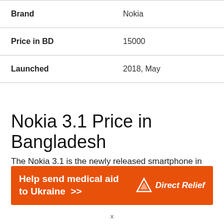| Brand | Nokia |
| Price in BD | 15000 |
| Launched | 2018, May |
Nokia 3.1 Price in Bangladesh
The Nokia 3.1 is the newly released smartphone in Bangladesh. So the Nokia 3.1 actual price is not available yet. USD or Euro price is being converted to the BDT amount. nokia has now become a famous
[Figure (infographic): Orange advertisement banner reading 'Help send medical aid to Ukraine >>' with Direct Relief logo on the right]